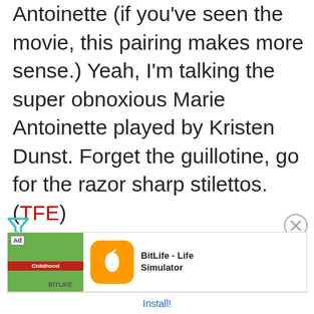Antoinette (if you've seen the movie, this pairing makes more sense.) Yeah, I'm talking the super obnoxious Marie Antoinette played by Kristen Dunst. Forget the guillotine, go for the razor sharp stilettos. (TFE)
[Figure (other): Advertisement banner for BitLife - Life Simulator app with install button]